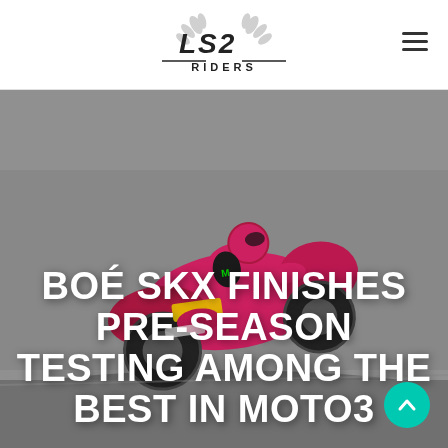LS2 RIDERS
[Figure (photo): Motorcycle racer leaning into a corner on a pink/magenta race bike with Monster Energy, Armure, and Midas sponsor logos, on a race track. The background is blurred grey. Large white bold text overlaid reads: BOÉ SKX FINISHES PRE-SEASON TESTING AMONG THE BEST IN MOTO3]
BOÉ SKX FINISHES PRE-SEASON TESTING AMONG THE BEST IN MOTO3